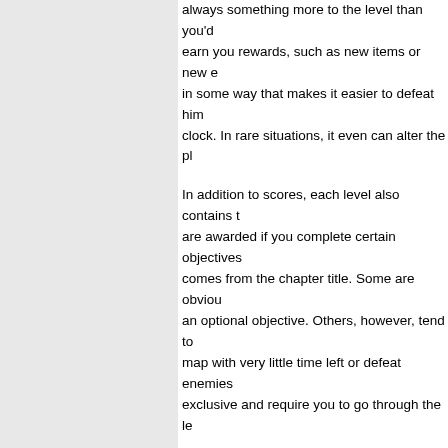always something more to the level than you'd earn you rewards, such as new items or new e in some way that makes it easier to defeat him clock. In rare situations, it even can alter the pl
In addition to scores, each level also contains t are awarded if you complete certain objectives comes from the chapter title. Some are obviou an optional objective. Others, however, tend to map with very little time left or defeat enemies exclusive and require you to go through the le
If it sounds like 30 seconds aren't enough time time freezes when you visit towns or castles, b even give you that handicap. Despite this, you' one or two levels, most of the stages contain a the Goddess of Time reverse time back to the s not all, of the events in the world. Completed q changing events can be turned back by the clo although the world is in danger, turning back ti The second time is 200 gold, the third is 400, a equipment and money for one final chance if y time also solves some of the game's challenge need to solve a puzzle.